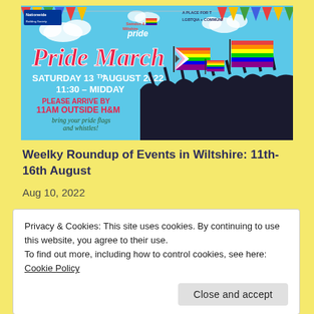[Figure (illustration): Pride March event banner with sky blue background, bunting flags in rainbow colors, silhouette crowd waving pride flags, text reading 'Pride March Saturday 13th August 2022 11:30 - Midday Please arrive by 11am outside H&M bring your pride flags and whistles!', Nationwide Building Society logo and Swindon & Wiltshire Pride logo visible.]
Weelky Roundup of Events in Wiltshire: 11th-16th August
Aug 10, 2022
Privacy & Cookies: This site uses cookies. By continuing to use this website, you agree to their use.
To find out more, including how to control cookies, see here: Cookie Policy